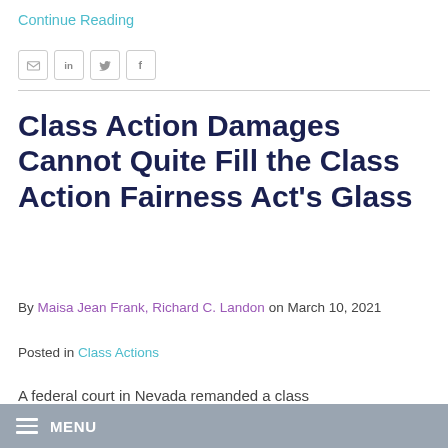Continue Reading
[Figure (other): Social sharing icons: email, LinkedIn, Twitter, Facebook]
Class Action Damages Cannot Quite Fill the Class Action Fairness Act's Glass
By Maisa Jean Frank, Richard C. Landon on March 10, 2021
Posted in Class Actions
A federal court in Nevada remanded a class
MENU